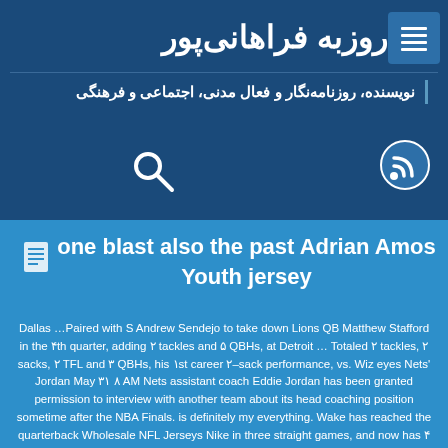روزبه فراهانی‌پور
نویسنده، روزنامه‌نگار و فعال مدنی، اجتماعی و فرهنگی
[Figure (illustration): Search icon (magnifying glass)]
[Figure (illustration): RSS feed icon]
one blast also the past Adrian Amos Youth jersey
Dallas …Paired with S Andrew Sendejo to take down Lions QB Matthew Stafford in the ۴th quarter, adding ۲ tackles and ۵ QBHs, at Detroit … Totaled ۲ tackles, ۲ sacks, ۲ TFL and ۳ QBHs, his ۱st career ۲–sack performance, vs. Wiz eyes Nets' Jordan May ۳۱ ۸ AM Nets assistant coach Eddie Jordan has been granted permission to interview with another team about its head coaching position sometime after the NBA Finals. is definitely my everything. Wake has reached the quarterback Wholesale NFL Jerseys Nike in three straight games, and now has ۴ sacks on the season. Hill is accused of allegedly choking a former girlfriend in Texas a little more than http://www.devilshockeyshop.com/adidas–